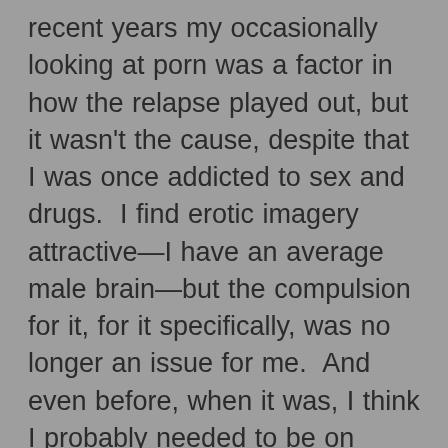recent years my occasionally looking at porn was a factor in how the relapse played out, but it wasn't the cause, despite that I was once addicted to sex and drugs.  I find erotic imagery attractive—I have an average male brain—but the compulsion for it, for it specifically, was no longer an issue for me.  And even before, when it was, I think I probably needed to be on drugs to be addicted to porn.  I'm not sure I could stay sufficiently interested without cannabis, or especially cocaine.  My lesser former addictions are even less relevant to my relapsing, I think.  Like my affection for clothes shopping, which for a time in my recovery had served as a transferred addiction.  And lattes and pastries—I'm not a hermit-monk living in a cave, I'm a lay-